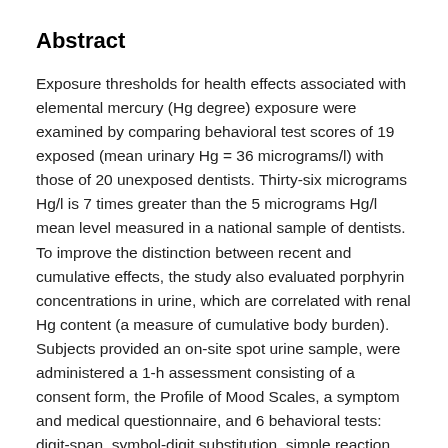Abstract
Exposure thresholds for health effects associated with elemental mercury (Hg degree) exposure were examined by comparing behavioral test scores of 19 exposed (mean urinary Hg = 36 micrograms/l) with those of 20 unexposed dentists. Thirty-six micrograms Hg/l is 7 times greater than the 5 micrograms Hg/l mean level measured in a national sample of dentists. To improve the distinction between recent and cumulative effects, the study also evaluated porphyrin concentrations in urine, which are correlated with renal Hg content (a measure of cumulative body burden). Subjects provided an on-site spot urine sample, were administered a 1-h assessment consisting of a consent form, the Profile of Mood Scales, a symptom and medical questionnaire, and 6 behavioral tests: digit-span, symbol-digit substitution, simple reaction time, the ability to switch between tasks,